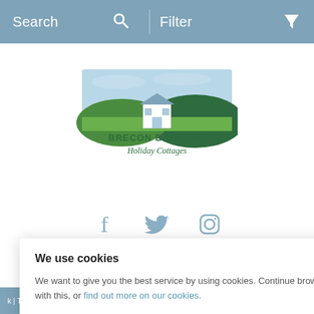Search   Filter
[Figure (logo): Brecon Beacons Holiday Cottages logo: illustration of a white cottage with green hills and blue sky, with text 'BRECON BEACONS Holiday Cottages']
[Figure (infographic): Social media icons: Facebook, Twitter/bird, Instagram]
chapter
We use cookies
We want to give you the best service by using cookies. Continue browsing if you're happy with this, or find out more on our cookies.
k | The Travel Chapter Limited is registered in England and Wales. | Registered office Travel